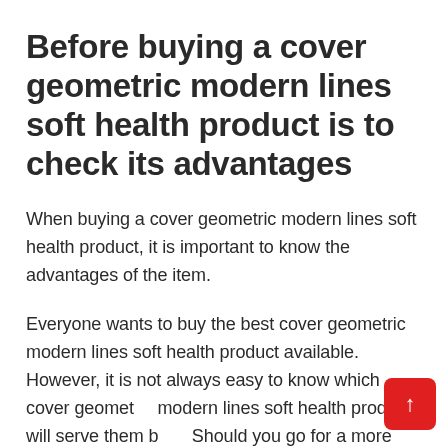Before buying a cover geometric modern lines soft health product is to check its advantages
When buying a cover geometric modern lines soft health product, it is important to know the advantages of the item.
Everyone wants to buy the best cover geometric modern lines soft health product available. However, it is not always easy to know which cover geometric modern lines soft health product will serve them best. Should you go for a more expensive option that offers